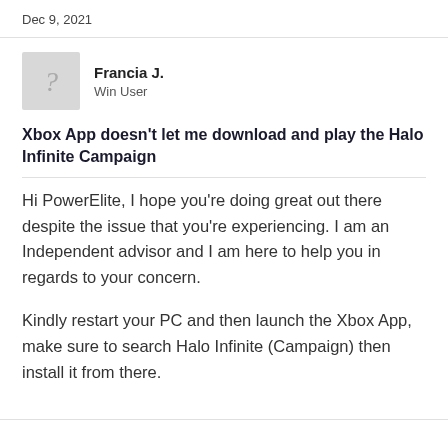Dec 9, 2021
Francia J.
Win User
Xbox App doesn't let me download and play the Halo Infinite Campaign
Hi PowerElite, I hope you're doing great out there despite the issue that you're experiencing. I am an Independent advisor and I am here to help you in regards to your concern.
Kindly restart your PC and then launch the Xbox App, make sure to search Halo Infinite (Campaign) then install it from there.